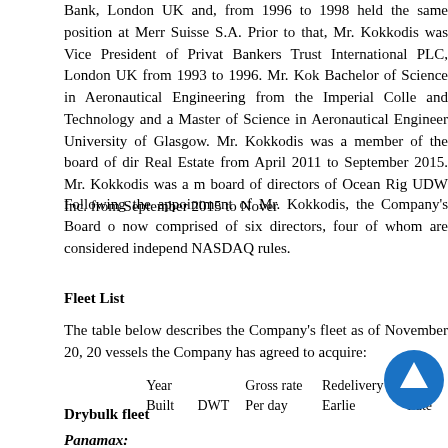Bank, London UK and, from 1996 to 1998 held the same position at Merr Suisse S.A. Prior to that, Mr. Kokkodis was Vice President of Privat Bankers Trust International PLC, London UK from 1993 to 1996. Mr. Kok Bachelor of Science in Aeronautical Engineering from the Imperial Colle and Technology and a Master of Science in Aeronautical Engineer University of Glasgow. Mr. Kokkodis was a member of the board of dir Real Estate from April 2011 to September 2015. Mr. Kokkodis was a m board of directors of Ocean Rig UDW Inc. from September 2015 to Nover
Following the appointment of Mr. Kokkodis, the Company's Board o now comprised of six directors, four of whom are considered independ NASDAQ rules.
Fleet List
The table below describes the Company's fleet as of November 20, 20 vessels the Company has agreed to acquire:
|  | Year Built | DWT | Gross rate Per day | Redelivery Earliest | Redelivery Latest |
| --- | --- | --- | --- | --- | --- |
Drybulk fleet
Panamax: